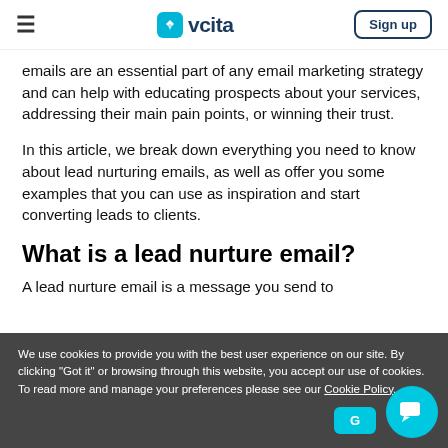vcita — Sign up
emails are an essential part of any email marketing strategy and can help with educating prospects about your services, addressing their main pain points, or winning their trust.
In this article, we break down everything you need to know about lead nurturing emails, as well as offer you some examples that you can use as inspiration and start converting leads to clients.
What is a lead nurture email?
A lead nurture email is a message you send to
We use cookies to provide you with the best user experience on our site. By clicking "Got it" or browsing through this website, you accept our use of cookies. To read more and manage your preferences please see our Cookie Policy.